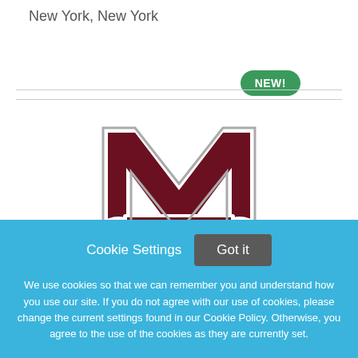New York, New York
[Figure (logo): Mississippi State University logo — large maroon block letter M with a banner reading STATE across the middle, outlined in white and grey]
Cookie Settings   Got it
We use cookies so that we can remember you and understand how you use our site. If you do not agree with our use of cookies, please change the current settings found in our Cookie Policy. Otherwise, you agree to the use of the cookies as they are currently set.